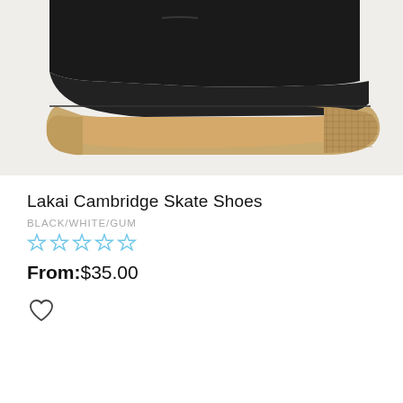[Figure (photo): Close-up side view of a black Lakai Cambridge skate shoe showing the bottom portion with a tan/gum rubber sole against a white background.]
Lakai Cambridge Skate Shoes
BLACK/WHITE/GUM
0 out of 5 stars (star rating widget)
From: $35.00
[Figure (illustration): Wishlist heart icon (outline)]